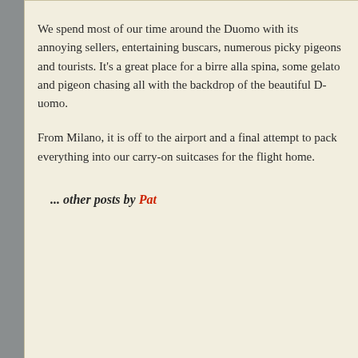We spend most of our time around the Duomo with its annoying sellers, entertaining buscars, numerous picky pigeons and tourists. It's a great place for a birre alla spina, some gelato and pigeon chasing all with the backdrop of the beautiful Duomo.
From Milano, it is off to the airport and a final attempt to pack everything into our carry-on suitcases for the flight home.
... other posts by Pat
Copyright © 2010-202... This site is using the Desk Mess M...